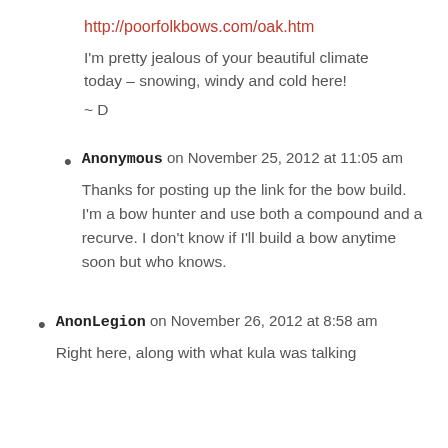http://poorfolkbows.com/oak.htm
I'm pretty jealous of your beautiful climate today – snowing, windy and cold here!
~ D
Anonymous on November 25, 2012 at 11:05 am
Thanks for posting up the link for the bow build. I'm a bow hunter and use both a compound and a recurve. I don't know if I'll build a bow anytime soon but who knows.
AnonLegion on November 26, 2012 at 8:58 am
Right here, along with what kula was talking